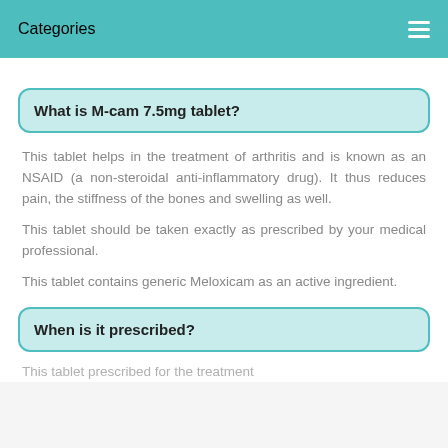Categories
What is M-cam 7.5mg tablet?
This tablet helps in the treatment of arthritis and is known as an NSAID (a non-steroidal anti-inflammatory drug). It thus reduces pain, the stiffness of the bones and swelling as well.
This tablet should be taken exactly as prescribed by your medical professional.
This tablet contains generic Meloxicam as an active ingredient.
When is it prescribed?
This tablet prescribed for the treatment